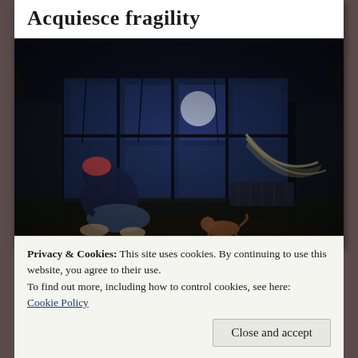Acquiesce fragility
[Figure (photo): Dark, moody photograph of a person sitting huddled with knees to chest in an abandoned, decayed room. Large broken windows behind show a full moon and bare trees in blue night light. A small dog walks in the foreground. A damaged hammock hangs near a radiator. The room is covered in debris and peeling walls.]
Privacy & Cookies: This site uses cookies. By continuing to use this website, you agree to their use.
To find out more, including how to control cookies, see here: Cookie Policy
Close and accept
character of hater. Do not argue, you are never winning this debate. Do not ask what it...